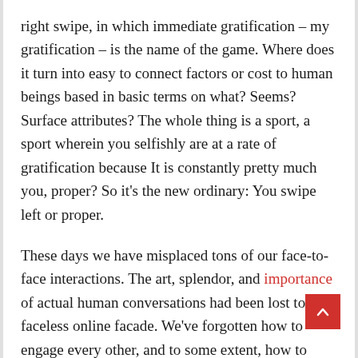right swipe, in which immediate gratification – my gratification – is the name of the game. Where does it turn into easy to connect factors or cost to human beings based in basic terms on what? Seems? Surface attributes? The whole thing is a sport, a sport wherein you selfishly are at a rate of gratification because It is constantly pretty much you, proper? So it's the new ordinary: You swipe left or proper.
These days we have misplaced tons of our face-to-face interactions. The art, splendor, and importance of actual human conversations had been lost to this faceless online facade. We've forgotten how to engage every other, and to some extent, how to certainly recognize, empathize and love each different.